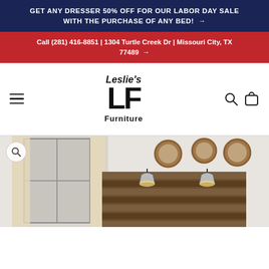GET ANY DRESSER 50% OFF FOR OUR LABOR DAY SALE WITH THE PURCHASE OF ANY BED! →
Call (281) 416-8851 | 1304 Turtle Creek Dr | Missouri City, TX 77489 →
[Figure (logo): Leslie's LF Furniture logo with large bold black LF letters, italic Leslie's above, and Furniture below]
[Figure (photo): Bedroom furniture photo showing a rustic wooden headboard with wall sconce lights and round mirrors on the wall]